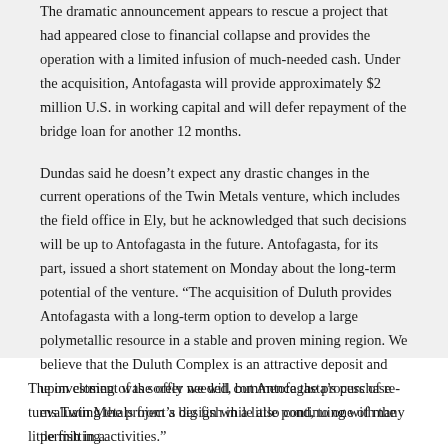The dramatic announcement appears to rescue a project that had appeared close to financial collapse and provides the operation with a limited infusion of much-needed cash. Under the acquisition, Antofagasta will provide approximately $2 million U.S. in working capital and will defer repayment of the bridge loan for another 12 months.
Dundas said he doesn't expect any drastic changes in the current operations of the Twin Metals venture, which includes the field office in Ely, but he acknowledged that such decisions will be up to Antofagasta in the future. Antofagasta, for its part, issued a short statement on Monday about the long-term potential of the venture. “The acquisition of Duluth provides Antofagasta with a long-term option to develop a large polymetallic resource in a stable and proven mining region. We believe that the Duluth Complex is an attractive deposit and upon closing of the offer we will commence the process of re-evaluating the project’s design while also continuing with the permitting activities.”
The investment was sorely needed, but Antofagasta’s purchase turns Twin Metals from a big fish in a little pond, to one of many little fish in a